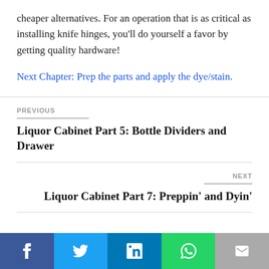cheaper alternatives. For an operation that is as critical as installing knife hinges, you'll do yourself a favor by getting quality hardware!
Next Chapter: Prep the parts and apply the dye/stain.
PREVIOUS
Liquor Cabinet Part 5: Bottle Dividers and Drawer
NEXT
Liquor Cabinet Part 7: Preppin' and Dyin'
[Figure (infographic): Social share bar with Facebook, Twitter, LinkedIn, WhatsApp, and Email buttons]